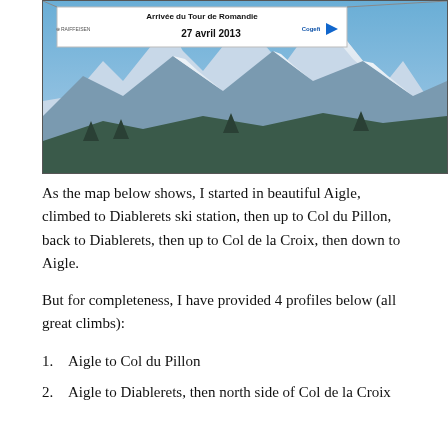[Figure (photo): Photo of snow-capped mountains under blue sky with a banner reading 'Arrivée du Tour de Romandie 27 avril 2013' with Raiffeisen and Cogefi logos]
As the map below shows, I started in beautiful Aigle, climbed to Diablerets ski station, then up to Col du Pillon, back to Diablerets, then up to Col de la Croix, then down to Aigle.
But for completeness, I have provided 4 profiles below (all great climbs):
1.  Aigle to Col du Pillon
2.  Aigle to Diablerets, then north side of Col de la Croix